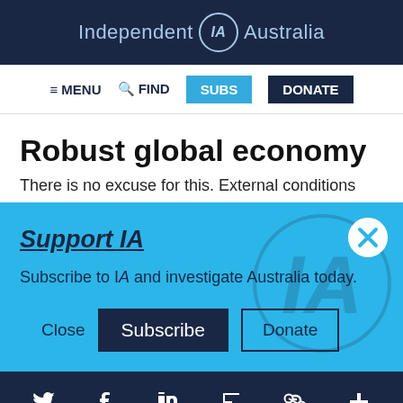Independent IA Australia
[Figure (screenshot): Navigation bar with menu icon, FIND search icon, SUBS button in cyan, and DONATE button in dark navy]
Robust global economy
There is no excuse for this. External conditions
Support IA
Subscribe to IA and investigate Australia today.
Close  Subscribe  Donate
Social icons: Twitter, Facebook, LinkedIn, Flipboard, Link, Plus